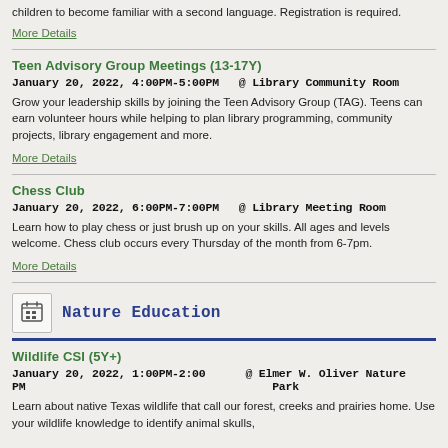children to become familiar with a second language. Registration is required.
More Details
Teen Advisory Group Meetings (13-17Y)
January 20, 2022, 4:00PM-5:00PM  @ Library Community Room
Grow your leadership skills by joining the Teen Advisory Group (TAG). Teens can earn volunteer hours while helping to plan library programming, community projects, library engagement and more.
More Details
Chess Club
January 20, 2022, 6:00PM-7:00PM  @ Library Meeting Room
Learn how to play chess or just brush up on your skills. All ages and levels welcome. Chess club occurs every Thursday of the month from 6-7pm.
More Details
Nature Education
Wildlife CSI (5Y+)
January 20, 2022, 1:00PM-2:00 PM    @ Elmer W. Oliver Nature Park
Learn about native Texas wildlife that call our forest, creeks and prairies home. Use your wildlife knowledge to identify animal skulls,